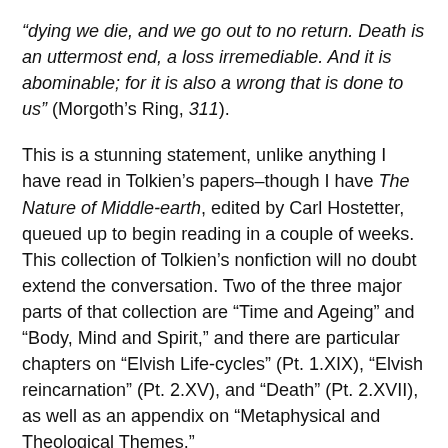“dying we die, and we go out to no return. Death is an uttermost end, a loss irremediable. And it is abominable; for it is also a wrong that is done to us” (Morgoth’s Ring, 311).
This is a stunning statement, unlike anything I have read in Tolkien’s papers–though I have The Nature of Middle-earth, edited by Carl Hostetter, queued up to begin reading in a couple of weeks. This collection of Tolkien’s nonfiction will no doubt extend the conversation. Two of the three major parts of that collection are “Time and Ageing” and “Body, Mind and Spirit,” and there are particular chapters on “Elvish Life-cycles” (Pt. 1.XIX), “Elvish reincarnation” (Pt. 2.XV), and “Death” (Pt. 2.XVII), as well as an appendix on “Metaphysical and Theological Themes.”